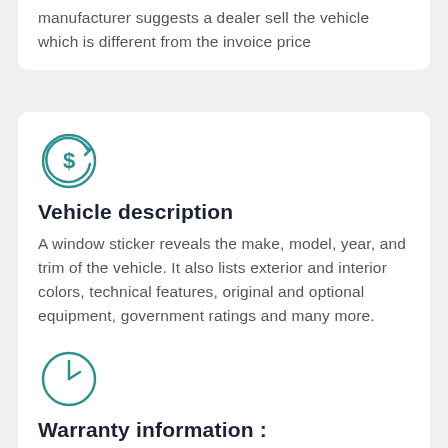manufacturer suggests a dealer sell the vehicle which is different from the invoice price
[Figure (illustration): Teal circular arrow icon with a dollar sign in the center]
Vehicle description
A window sticker reveals the make, model, year, and trim of the vehicle. It also lists exterior and interior colors, technical features, original and optional equipment, government ratings and many more.
[Figure (illustration): Teal clock icon showing roughly 1 o'clock]
Warranty information :
Find out the vehicle's warranty lengths, roadside